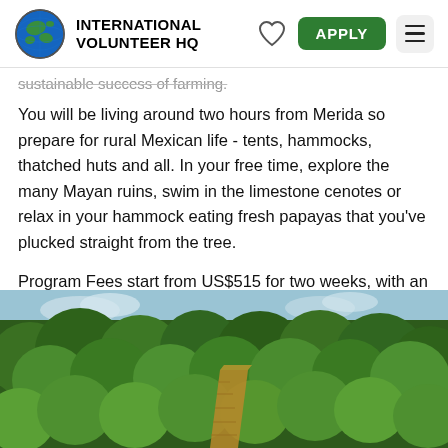INTERNATIONAL VOLUNTEER HQ
sustainable success of farming.
You will be living around two hours from Merida so prepare for rural Mexican life - tents, hammocks, thatched huts and all. In your free time, explore the many Mayan ruins, swim in the limestone cenotes or relax in your hammock eating fresh papayas that you've plucked straight from the tree.
Program Fees start from US$515 for two weeks, with an additional $65 surcharge for additional training and resources required.
[Figure (photo): Aerial or elevated view of dense green tropical forest with a path or wooden walkway visible through the trees, taken outdoors under a partly cloudy sky.]